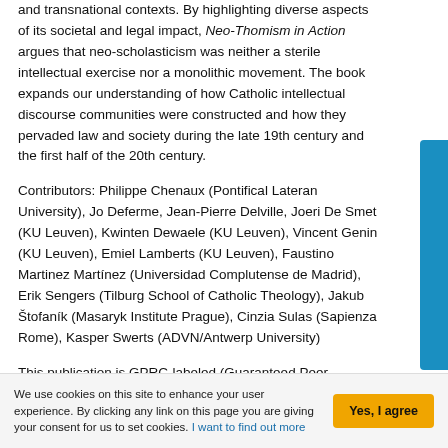and transnational contexts. By highlighting diverse aspects of its societal and legal impact, Neo-Thomism in Action argues that neo-scholasticism was neither a sterile intellectual exercise nor a monolithic movement. The book expands our understanding of how Catholic intellectual discourse communities were constructed and how they pervaded law and society during the late 19th century and the first half of the 20th century.
Contributors: Philippe Chenaux (Pontifical Lateran University), Jo Deferme, Jean-Pierre Delville, Joeri De Smet (KU Leuven), Kwinten Dewaele (KU Leuven), Vincent Genin (KU Leuven), Emiel Lamberts (KU Leuven), Faustino Martinez Martínez (Universidad Complutense de Madrid), Erik Sengers (Tilburg School of Catholic Theology), Jakub Štofaník (Masaryk Institute Prague), Cinzia Sulas (Sapienza Rome), Kasper Swerts (ADVN/Antwerp University)
This publication is GPRC-labeled (Guaranteed Peer-Reviewed Content).
We use cookies on this site to enhance your user experience. By clicking any link on this page you are giving your consent for us to set cookies. I want to find out more